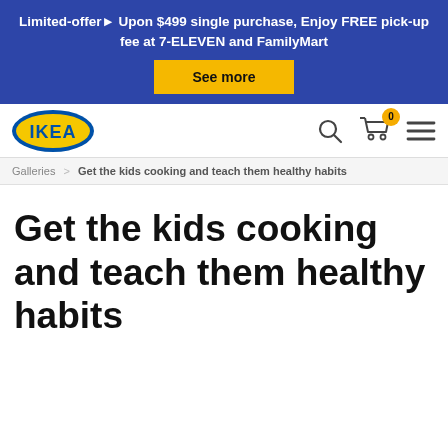Limited-offer▶ Upon $499 single purchase, Enjoy FREE pick-up fee at 7-ELEVEN and FamilyMart
See more
[Figure (logo): IKEA logo: yellow oval with blue IKEA text]
[Figure (other): Navigation icons: search magnifier, cart with badge 0, hamburger menu]
Galleries > Get the kids cooking and teach them healthy habits
Get the kids cooking and teach them healthy habits